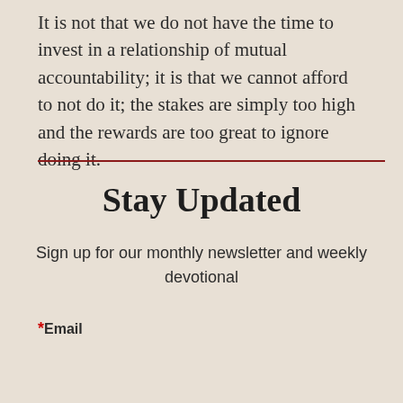It is not that we do not have the time to invest in a relationship of mutual accountability; it is that we cannot afford to not do it; the stakes are simply too high and the rewards are too great to ignore doing it.
Stay Updated
Sign up for our monthly newsletter and weekly devotional
* Email
[Figure (screenshot): Email input form field with reCAPTCHA widget showing spinning arrows logo and Privacy - Terms text]